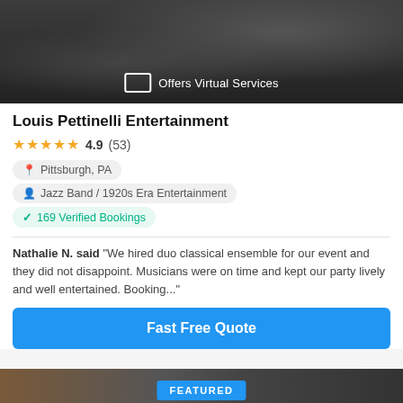[Figure (photo): Black and white photo of a band/drum kit with 'Offers Virtual Services' badge overlay]
Louis Pettinelli Entertainment
★★★★★ 4.9 (53)
Pittsburgh, PA
Jazz Band / 1920s Era Entertainment
✓ 169 Verified Bookings
Nathalie N. said "We hired duo classical ensemble for our event and they did not disappoint. Musicians were on time and kept our party lively and well entertained. Booking..."
Fast Free Quote
[Figure (photo): Partially visible featured listing photo strip at bottom of page]